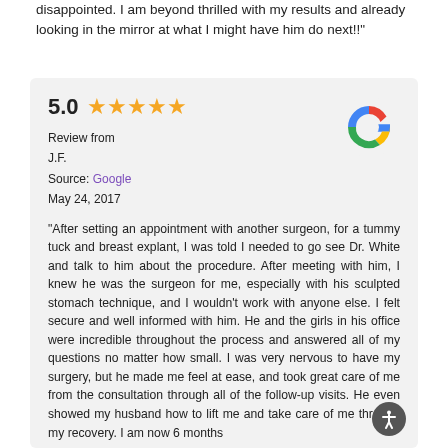disappointed. I am beyond thrilled with my results and already looking in the mirror at what I might have him do next!!"
5.0 ★★★★★
Review from
J.F.
Source: Google
May 24, 2017
[Figure (logo): Google logo - colorful G letter]
"After setting an appointment with another surgeon, for a tummy tuck and breast explant, I was told I needed to go see Dr. White and talk to him about the procedure. After meeting with him, I knew he was the surgeon for me, especially with his sculpted stomach technique, and I wouldn't work with anyone else. I felt secure and well informed with him. He and the girls in his office were incredible throughout the process and answered all of my questions no matter how small. I was very nervous to have my surgery, but he made me feel at ease, and took great care of me from the consultation through all of the follow-up visits. He even showed my husband how to lift me and take care of me through my recovery. I am now 6 months